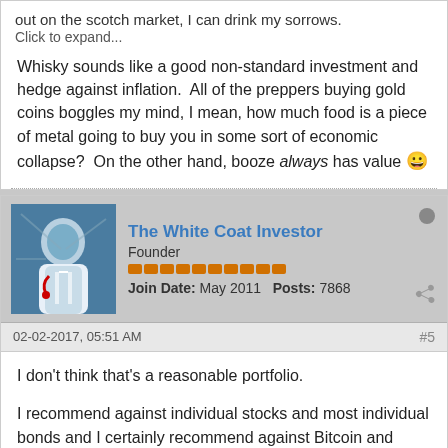out on the scotch market, I can drink my sorrows.
Click to expand...
Whisky sounds like a good non-standard investment and hedge against inflation.  All of the preppers buying gold coins boggles my mind, I mean, how much food is a piece of metal going to buy you in some sort of economic collapse?  On the other hand, booze always has value 😀
The White Coat Investor
Founder
Join Date: May 2011   Posts: 7868
02-02-2017, 05:51 AM
#5
I don't think that's a reasonable portfolio.
I recommend against individual stocks and most individual bonds and I certainly recommend against Bitcoin and similar assets. There is very little about your portfolio that I like, and I